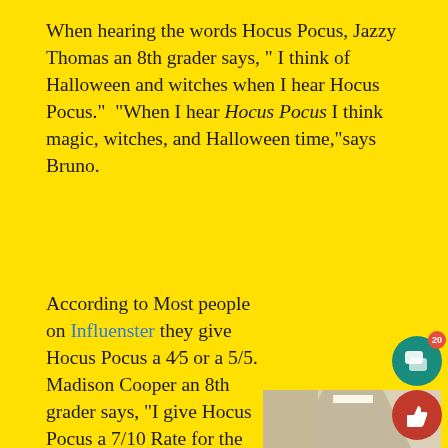When hearing the words Hocus Pocus, Jazzy Thomas an 8th grader says, " I think of Halloween and witches when I hear Hocus Pocus."  "When I hear Hocus Pocus I think magic, witches, and Halloween time,"says Bruno.
According to Most people on Influenster they give Hocus Pocus a 4/5 or a 5/5. Madison Cooper an 8th grader says, "I give Hocus Pocus a 7/10 Rate for the movie."
[Figure (photo): A young girl with dark hair in a bun smiling in a school hallway, with a 'DJH' sign visible on the wall behind her. She is wearing a yellow/orange shirt.]